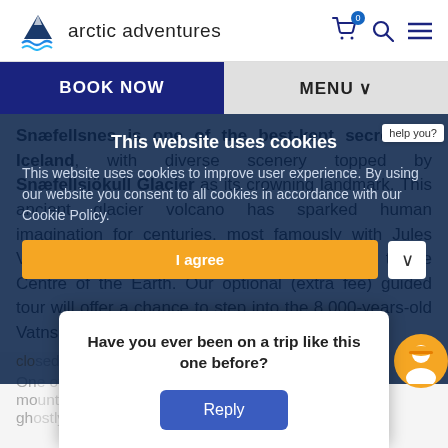arctic adventures
BOOK NOW
MENU
Snæfellsnes is one of the best-kept secrets of Iceland, with diverse scenery topped by Snæfellsjökull Glacier as its crowning landmark. This ancient glacier volcano has sparked human imagination for centuries, most famously with Jules Verne commemorating it in his novel Journey to the Centre of the Earth. Our optional (extra fee) guided tour will offer a chance to step into the 8,000-years-old Vatnshellir Cave...
This website uses cookies
This website uses cookies to improve user experience. By using our website you consent to all cookies in accordance with our Cookie Policy.
I agree
Have you ever been on a trip like this one before?
Reply